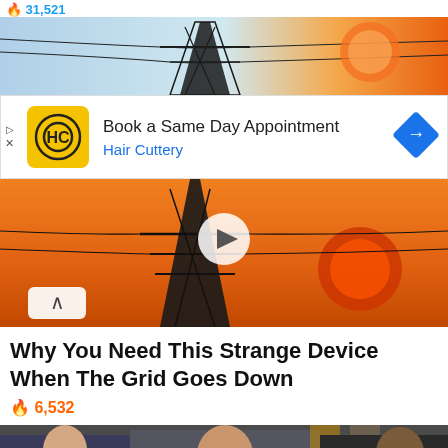31,527
[Figure (photo): Power transmission tower against a colorful sky (top, partially visible)]
[Figure (infographic): Advertisement: Hair Cuttery - Book a Same Day Appointment]
[Figure (photo): Power transmission tower against orange sunset sky (mid section)]
Why You Need This Strange Device When The Grid Goes Down
6,532
[Figure (photo): Politicians at a press conference including a woman speaking at a podium]